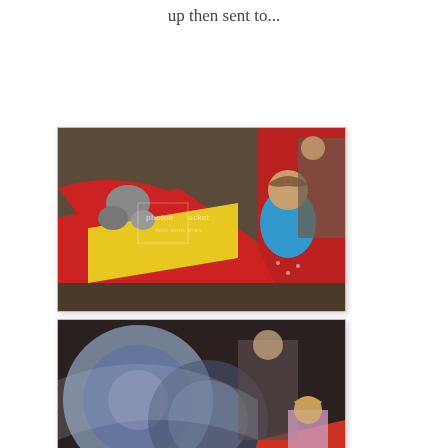up then sent to...
[Figure (photo): A young child in a blue LEGO shirt playing with colorful red and yellow toys/playground equipment. Photobucket watermark visible.]
[Figure (photo): Close-up photo of plastic tubes or playground equipment with a child visible in the background. Photobucket watermark visible.]